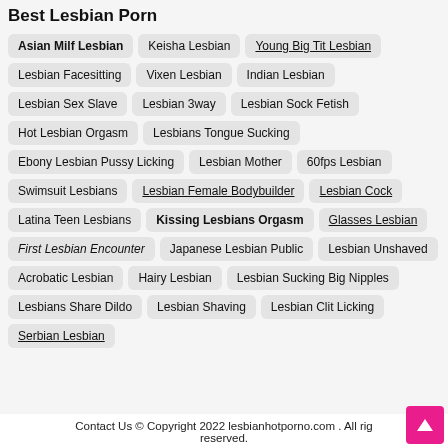Best Lesbian Porn
Asian Milf Lesbian
Keisha Lesbian
Young Big Tit Lesbian
Lesbian Facesitting
Vixen Lesbian
Indian Lesbian
Lesbian Sex Slave
Lesbian 3way
Lesbian Sock Fetish
Hot Lesbian Orgasm
Lesbians Tongue Sucking
Ebony Lesbian Pussy Licking
Lesbian Mother
60fps Lesbian
Swimsuit Lesbians
Lesbian Female Bodybuilder
Lesbian Cock
Latina Teen Lesbians
Kissing Lesbians Orgasm
Glasses Lesbian
First Lesbian Encounter
Japanese Lesbian Public
Lesbian Unshaved
Acrobatic Lesbian
Hairy Lesbian
Lesbian Sucking Big Nipples
Lesbians Share Dildo
Lesbian Shaving
Lesbian Clit Licking
Serbian Lesbian
Contact Us © Copyright 2022 lesbianhotporno.com . All rights reserved.